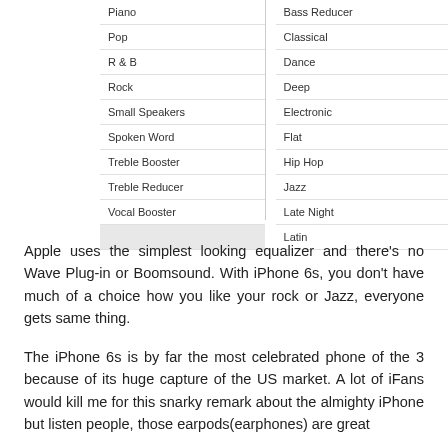Piano
Pop
R & B
Rock
Small Speakers
Spoken Word
Treble Booster
Treble Reducer
Vocal Booster
Bass Reducer
Classical
Dance
Deep
Electronic
Flat
Hip Hop
Jazz
Late Night
Latin
Apple uses the simplest looking equalizer and there's no Wave Plug-in or Boomsound. With iPhone 6s, you don't have much of a choice how you like your rock or Jazz, everyone gets same thing.
The iPhone 6s is by far the most celebrated phone of the 3 because of its huge capture of the US market. A lot of iFans would kill me for this snarky remark about the almighty iPhone but listen people, those earpods(earphones) are great